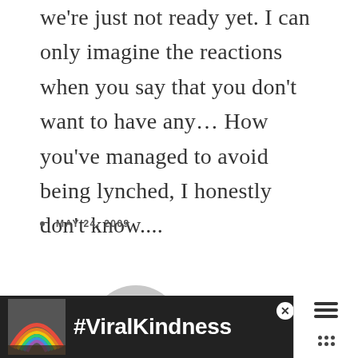we're just not ready yet. I can only imagine the reactions when you say that you don't want to have any… How you've managed to avoid being lynched, I honestly don't know....
MAY 24, 2009
[Figure (illustration): Generic grey user avatar icon — circular person silhouette]
[Figure (infographic): Advertisement banner with rainbow illustration and #ViralKindness hashtag text on dark background, with close button and right-side panel showing X and menu icons]